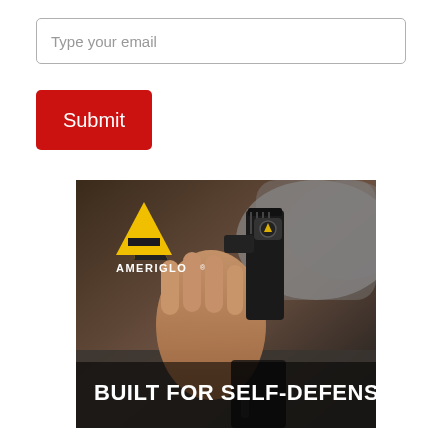Type your email
Submit
[Figure (photo): Ameriglo advertisement showing a hand drawing a handgun from a holster with text 'BUILT FOR SELF-DEFENSE' overlaid at the bottom. The Ameriglo logo (yellow triangle/A shape) and brand name appear in the upper left.]